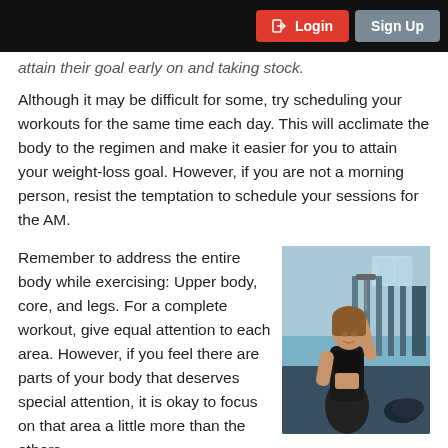Login  Sign Up
...attain their goal early on and taking stock.
Although it may be difficult for some, try scheduling your workouts for the same time each day. This will acclimate the body to the regimen and make it easier for you to attain your weight-loss goal. However, if you are not a morning person, resist the temptation to schedule your sessions for the AM.
Remember to address the entire body while exercising: Upper body, core, and legs. For a complete workout, give equal attention to each area. However, if you feel there are parts of your body that deserves special attention, it is okay to focus on that area a little more than the others.
[Figure (photo): A fit woman in athletic wear posing in a gym setting with exercise equipment visible in the background]
So, over-40 bodybuilding is not a misnomer; it is as realistic and practical as going back to school. If done correctly, it is a great, healthy way to lose those extra pounds, or to recapture that tawny, healthy body